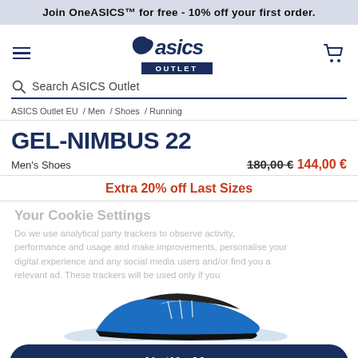Join OneASICS™ for free - 10% off your first order.
[Figure (logo): ASICS Outlet logo with stylized running figure and 'asics OUTLET' text]
Search ASICS Outlet
ASICS Outlet EU / Men / Shoes / Running
GEL-NIMBUS 22
Men's Shoes  180,00 € 144,00 €
Extra 20% off Last Sizes
Your Cookie Settings
Do we use analytical party trackers to observe activity, performance and usage and make improvements, personalise your digital experience and any social media users and/or find you a relevant ad. These trackers will be used only if you
[Figure (photo): Partial view of ASICS GEL-NIMBUS 22 running shoe in blue and black colorway]
Notify Me